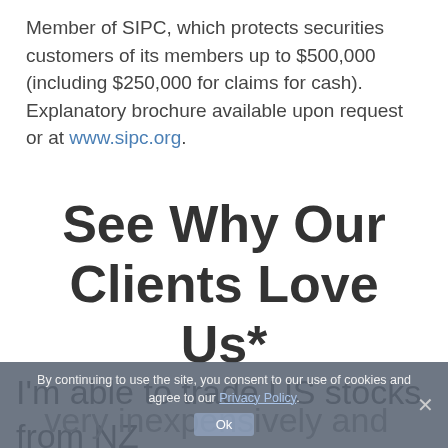Member of SIPC, which protects securities customers of its members up to $500,000 (including $250,000 for claims for cash). Explanatory brochure available upon request or at www.sipc.org.
See Why Our Clients Love Us*
I'm able to trade US stocks from NZ very inexpensively and they also have great software and great support. No complaints at all!
By continuing to use the site, you consent to our use of cookies and agree to our Privacy Policy.